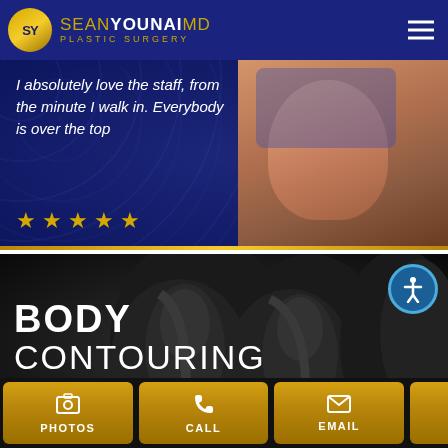SEAN YOUNAI MD PLASTIC SURGERY
I absolutely love the staff, from the minute I walk in. Everybody is over the top
[Figure (photo): Patient smiling while lying in a hospital bed wearing a surgical gown with blue hair covering]
★ ★ ★ ★ ★
[Figure (photo): Body contouring section showing black athletic wear body shape]
BODY CONTOURING
[Figure (infographic): Three action buttons: PHOTOS, CALL, EMAIL with gold gradient background and icons]